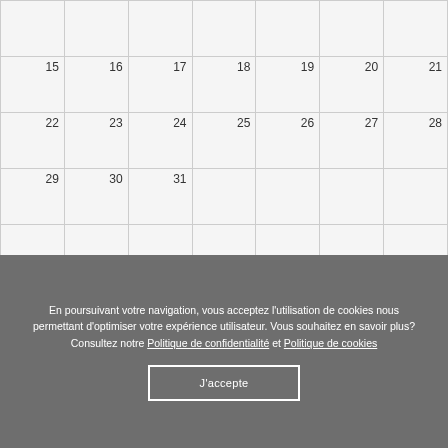|  |  |  |  |  |  |  |
| 15 | 16 | 17 | 18 | 19 | 20 | 21 |
| 22 | 23 | 24 | 25 | 26 | 27 | 28 |
| 29 | 30 | 31 |  |  |  |  |
|  |  |  |  |  |  |  |
En poursuivant votre navigation, vous acceptez l'utilisation de cookies nous permettant d'optimiser votre expérience utilisateur. Vous souhaitez en savoir plus? Consultez notre Politique de confidentialité et Politique de cookies
J'accepte